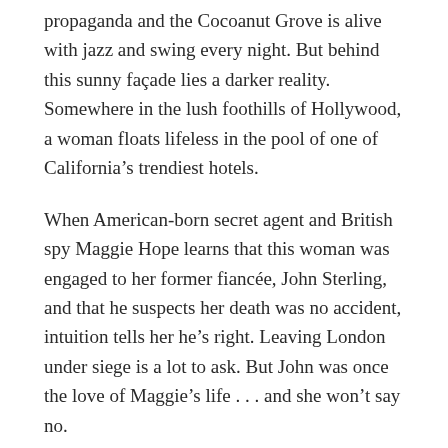propaganda and the Cocoanut Grove is alive with jazz and swing every night. But behind this sunny façade lies a darker reality. Somewhere in the lush foothills of Hollywood, a woman floats lifeless in the pool of one of California's trendiest hotels.
When American-born secret agent and British spy Maggie Hope learns that this woman was engaged to her former fiancée, John Sterling, and that he suspects her death was no accident, intuition tells her he's right. Leaving London under siege is a lot to ask. But John was once the love of Maggie's life . . . and she won't say no.
Maggie struggles with seeing her lost love again, but what's more shocking is that her own country is as divided and convulsed with hatred as Europe. The Zoot